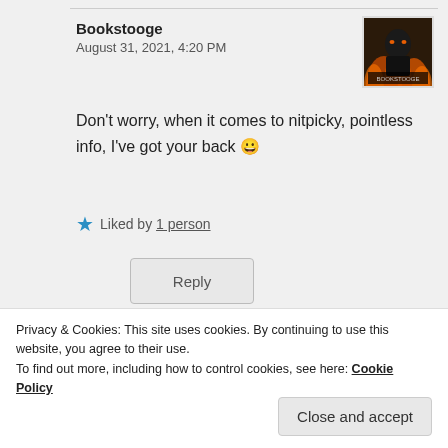Bookstooge
August 31, 2021, 4:20 PM
[Figure (photo): Avatar image for user Bookstooge showing a dark fantasy character with fire in background, with 'Bookstooge' text on it]
Don't worry, when it comes to nitpicky, pointless info, I've got your back 😀
★ Liked by 1 person
Reply
@lynnshooks
Privacy & Cookies: This site uses cookies. By continuing to use this website, you agree to their use.
To find out more, including how to control cookies, see here: Cookie Policy
Close and accept